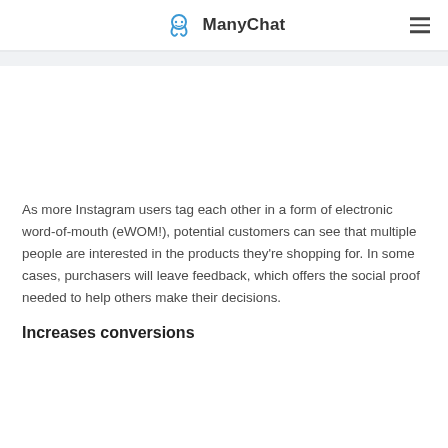ManyChat
As more Instagram users tag each other in a form of electronic word-of-mouth (eWOM!), potential customers can see that multiple people are interested in the products they're shopping for. In some cases, purchasers will leave feedback, which offers the social proof needed to help others make their decisions.
Increases conversions